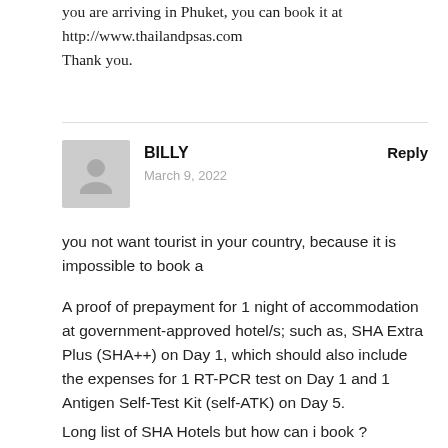you are arriving in Phuket, you can book it at http://www.thailandpsas.com
Thank you.
BILLY
March 9, 2022
Reply
you not want tourist in your country, because it is impossible to book a
A proof of prepayment for 1 night of accommodation at government-approved hotel/s; such as, SHA Extra Plus (SHA++) on Day 1, which should also include the expenses for 1 RT-PCR test on Day 1 and 1 Antigen Self-Test Kit (self-ATK) on Day 5.
Long list of SHA Hotels but how can i book ?